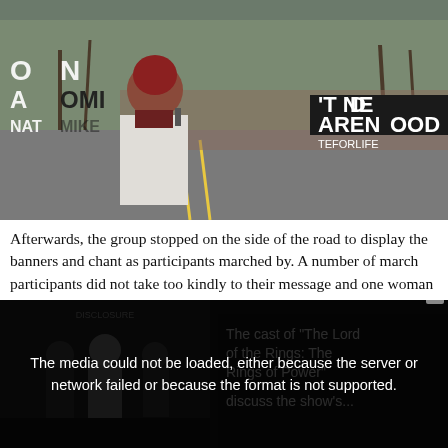[Figure (photo): Outdoor scene of a protest march on a road. A woman with curly red hair stands in the foreground holding a microphone or object, wearing a white jacket. Behind her are marchers carrying banners including text fragments 'ON', 'AOMI P', 'N'T NE', 'AREN', 'OOD', 'TEFORLIFE'. Bare trees visible in the background.]
Afterwards, the group stopped on the side of the road to display the banners and chant as participants marched by. A number of march participants did not take too kindly to their message and one woman even spat in the face of a Students for Life Great Lakes Regional Coordinator Anna Allgaier.
"I was on the bullhorn and our group was chanting that abortion
[Figure (screenshot): Bottom overlay section: left side shows a thumbnail of people (dark background), center shows a black overlay with white text error message: 'The media could not be loaded, either because the server or network failed or because the format is not supported.' Right side shows text: 'The cast of "The Lord of the Rings: The Rings of Power" discuss the show’s...' A close button (x) appears in the top right corner of the overlay.]